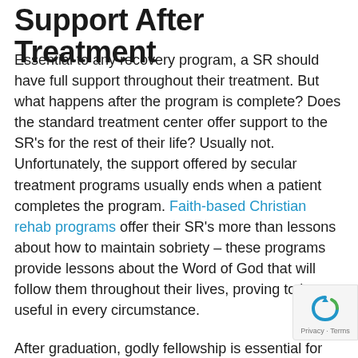Support After Treatment
Essential to any recovery program, a SR should have full support throughout their treatment. But what happens after the program is complete? Does the standard treatment center offer support to the SR's for the rest of their life? Usually not. Unfortunately, the support offered by secular treatment programs usually ends when a patient completes the program. Faith-based Christian rehab programs offer their SR's more than lessons about how to maintain sobriety – these programs provide lessons about the Word of God that will follow them throughout their lives, proving to be useful in every circumstance.
After graduation, godly fellowship is essential for continuing sobriety. During your time in treatment, our recovery coaches will help you determine your next steps, taking great care to set you up for success after completing the program. S2L Recovery has an extensive network of alumni spread across the country as well as intimate involvement with several churches. Staff members and